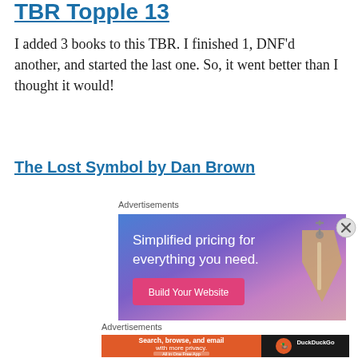TBR Topple 13
I added 3 books to this TBR. I finished 1, DNF'd another, and started the last one. So, it went better than I thought it would!
The Lost Symbol by Dan Brown
[Figure (screenshot): Advertisement banner: 'Simplified pricing for everything you need.' with a pink 'Build Your Website' button and a price tag graphic on gradient blue-purple background.]
[Figure (screenshot): DuckDuckGo advertisement: 'Search, browse, and email with more privacy. All in One Free App' on orange background with DuckDuckGo logo on black background.]